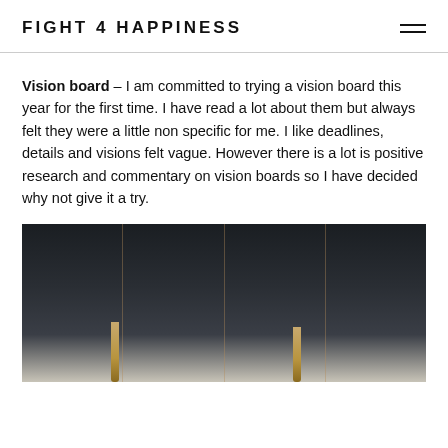FIGHT 4 HAPPINESS
Vision board – I am committed to trying a vision board this year for the first time. I have read a lot about them but always felt they were a little non specific for me. I like deadlines, details and visions felt vague. However there is a lot is positive research and commentary on vision boards so I have decided why not give it a try.
[Figure (photo): Dark interior photo showing white paneled walls or doors with vertical gold/copper pendant lights hanging down, dark ceiling.]